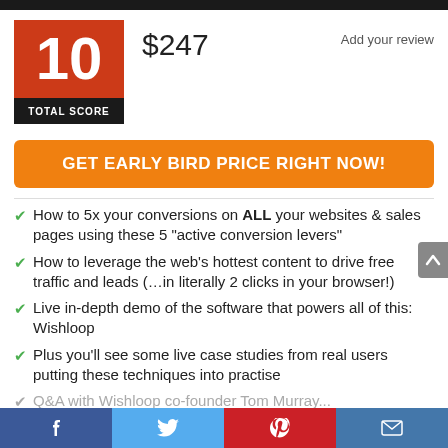[Figure (infographic): Score box showing 10 in red with black TOTAL SCORE label below]
$247
Add your review
GET EARLY BIRD PRICE RIGHT NOW!
How to 5x your conversions on ALL your websites & sales pages using these 5 “active conversion levers”
How to leverage the web’s hottest content to drive free traffic and leads (…in literally 2 clicks in your browser!)
Live in-depth demo of the software that powers all of this: Wishloop
Plus you’ll see some live case studies from real users putting these techniques into practise
Q&A with Wishloop co-founder Tom Murray...